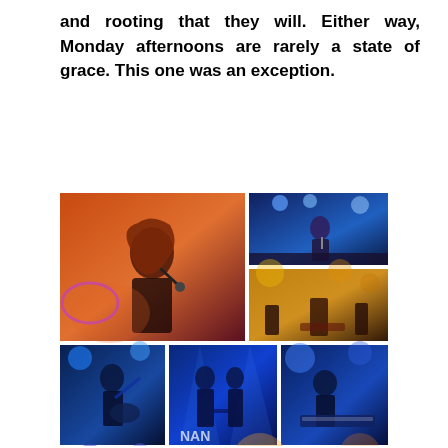and rooting that they will. Either way, Monday afternoons are rarely a state of grace. This one was an exception.
[Figure (photo): A collage of concert/live music photographs showing performers on stage under colorful stage lighting — including a female singer with red hair holding a microphone, a male singer in a spotlight, a band on a golden-lit stage, a guitarist under blue lights, two performers holding hands on stage, a keyboard player under blue lights, a performer at a keyboard under blue and purple lights, and a performer at a table under warm stage lighting.]